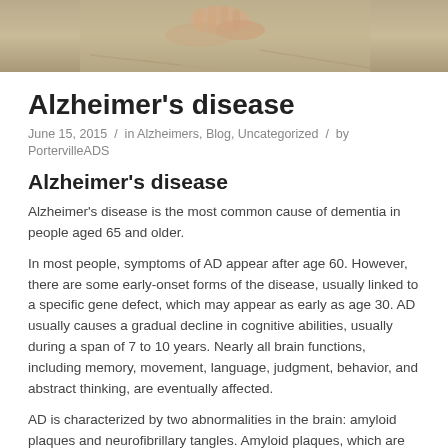[Figure (photo): Photo of an elderly person's hands, possibly clasped together, wearing beige/khaki clothing. Cropped to show upper portion.]
Alzheimer's disease
June 15, 2015  /  in Alzheimers, Blog, Uncategorized  /  by PortervilleADS
Alzheimer's disease
Alzheimer's disease is the most common cause of dementia in people aged 65 and older.
In most people, symptoms of AD appear after age 60. However, there are some early-onset forms of the disease, usually linked to a specific gene defect, which may appear as early as age 30. AD usually causes a gradual decline in cognitive abilities, usually during a span of 7 to 10 years. Nearly all brain functions, including memory, movement, language, judgment, behavior, and abstract thinking, are eventually affected.
AD is characterized by two abnormalities in the brain: amyloid plaques and neurofibrillary tangles. Amyloid plaques, which are found in the tissue between the nerve cells, are unusual